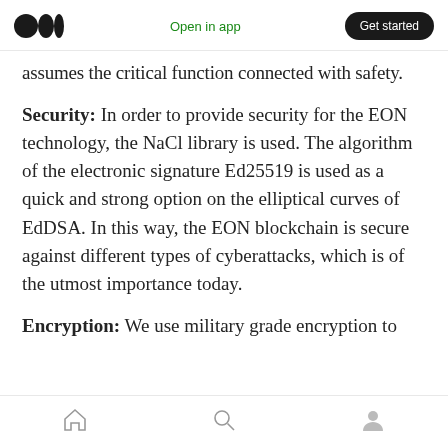Open in app | Get started
assumes the critical function connected with safety.
Security: In order to provide security for the EON technology, the NaCl library is used. The algorithm of the electronic signature Ed25519 is used as a quick and strong option on the elliptical curves of EdDSA. In this way, the EON blockchain is secure against different types of cyberattacks, which is of the utmost importance today.
Encryption: We use military grade encryption to
Home | Search | Profile